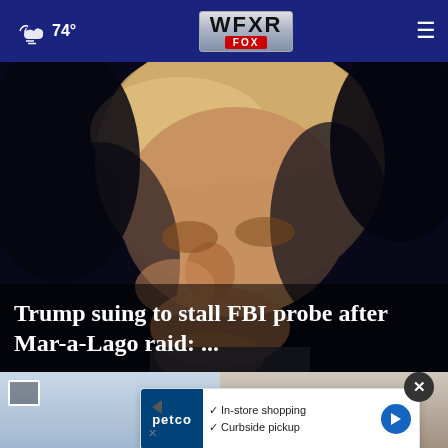74° WFXR FOX
[Figure (photo): Close-up photo of Donald Trump looking upward, against a dark background]
Trump suing to stall FBI probe after Mar-a-Lago raid: ...
[Figure (photo): Partial thumbnail images of two news stories below the main article]
[Figure (advertisement): Petco advertisement showing In-store shopping and Curbside pickup options]